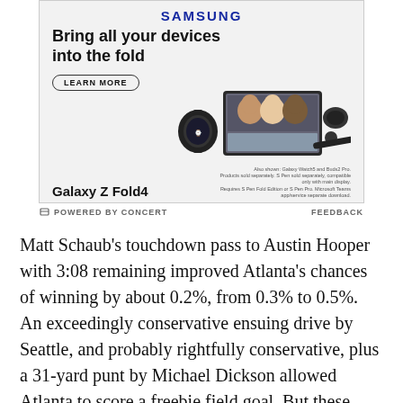[Figure (illustration): Samsung advertisement for Galaxy Z Fold4. Shows Samsung logo at top, headline 'Bring all your devices into the fold', a 'LEARN MORE' button, product images of Galaxy Watch, Galaxy Z Fold4 phone with video call on screen, and Galaxy Buds2 Pro, along with fine print text. Bottom shows 'Galaxy Z Fold4' branding.]
⊏ POWERED BY CONCERT   FEEDBACK
Matt Schaub's touchdown pass to Austin Hooper with 3:08 remaining improved Atlanta's chances of winning by about 0.2%, from 0.3% to 0.5%. An exceedingly conservative ensuing drive by Seattle, and probably rightfully conservative, plus a 31-yard punt by Michael Dickson allowed Atlanta to score a freebie field goal. But these were cosmetic tweaks to the outcome of the game. Teams almost never recover onside kicks